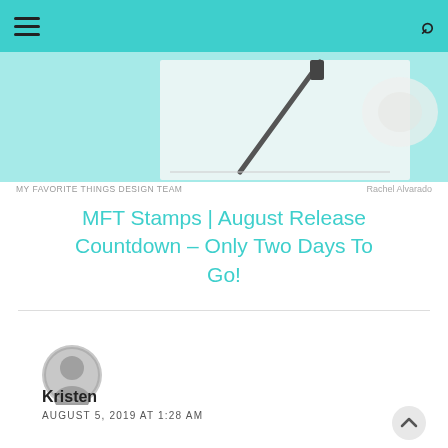Navigation bar with hamburger menu and search icon
[Figure (photo): Cropped blog header image showing crafting/stamping materials on a light background with teal overlay at top]
MY FAVORITE THINGS DESIGN TEAM   Rachel Alvarado
MFT Stamps | August Release Countdown – Only Two Days To Go!
Kristen
AUGUST 5, 2019 AT 1:28 AM